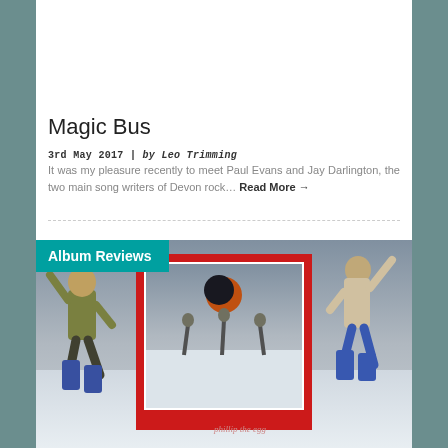[Figure (photo): Photo of people sitting on a couch, one holding a small red object]
Magic Bus
3rd May 2017 | by Leo Trimming
It was my pleasure recently to meet Paul Evans and Jay Darlington, the two main song writers of Devon rock… Read More →
[Figure (photo): Album Reviews section image showing a rock album cover with figures jumping in a snowy scene, red bordered album art in center, labeled 'phillip the egg']